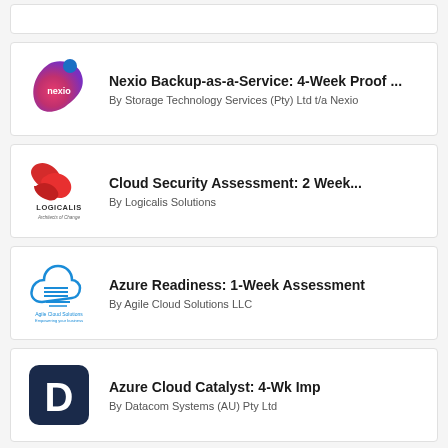[Figure (logo): Partial card at top (clipped)]
Nexio Backup-as-a-Service: 4-Week Proof ...
By Storage Technology Services (Pty) Ltd t/a Nexio
[Figure (logo): Logicalis logo - red wave/ribbon mark with LOGICALIS text and Architects of Change tagline]
Cloud Security Assessment: 2 Week...
By Logicalis Solutions
[Figure (logo): Agile Cloud Solutions logo - blue cloud with horizontal lines and text]
Azure Readiness: 1-Week Assessment
By Agile Cloud Solutions LLC
[Figure (logo): Datacom D logo - white letter D on dark navy square with rounded corners]
Azure Cloud Catalyst: 4-Wk Imp
By Datacom Systems (AU) Pty Ltd